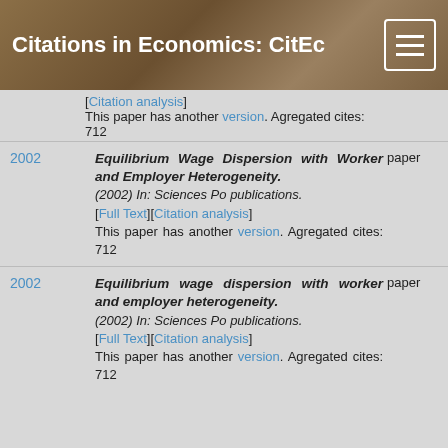Citations in Economics: CitEc
[Citation analysis] This paper has another version. Agregated cites: 712
Equilibrium Wage Dispersion with Worker and Employer Heterogeneity. (2002) In: Sciences Po publications. [Full Text][Citation analysis] This paper has another version. Agregated cites: 712 — 2002 — paper
Equilibrium wage dispersion with worker and employer heterogeneity. (2002) In: Sciences Po publications. [Full Text][Citation analysis] This paper has another version. Agregated cites: 712 — 2002 — paper